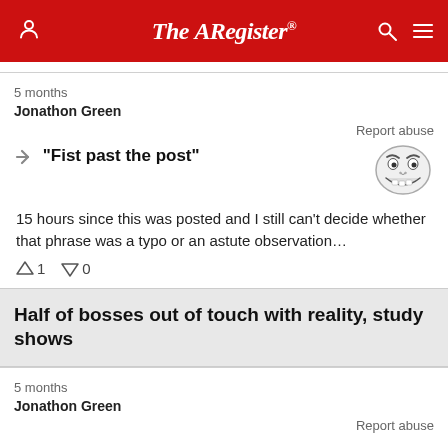The Register
5 months
Jonathon Green
Report abuse
“Fist past the post”
[Figure (illustration): Troll face meme illustration]
15 hours since this was posted and I still can’t decide whether that phrase was a typo or an astute observation…
↑1  ↓0
Half of bosses out of touch with reality, study shows
5 months
Jonathon Green
Report abuse